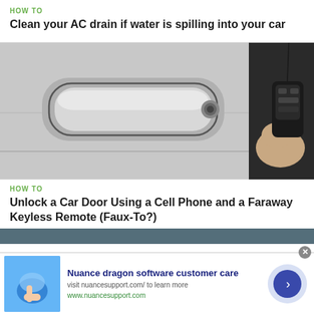HOW TO
Clean your AC drain if water is spilling into your car
[Figure (photo): Close-up photo of a white car door handle with a person holding a black key fob or remote control near the door lock sensor]
HOW TO
Unlock a Car Door Using a Cell Phone and a Faraway Keyless Remote (Faux-To?)
[Figure (photo): Partial view of another car-related image at the bottom, partially obscured by ad banner]
Nuance dragon software customer care
visit nuancesupport.com/ to learn more
www.nuancesupport.com